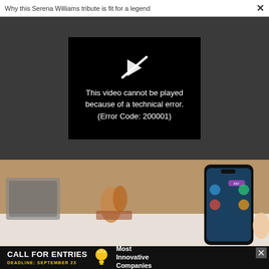Why this Serena Williams tribute is fit for a legend  ×
[Figure (screenshot): Dark gray video player area showing a black error box with a broken play icon and white text: 'This video cannot be played because of a technical error. (Error Code: 200001)']
[Figure (photo): Photo of a hand holding a smartphone with colorful game/app interface on screen, with wooden figurines and a keyboard in the blurred background]
[Figure (screenshot): Advertisement banner with black background. Text: 'CALL FOR ENTRIES' in white bold, 'DEADLINE: SEPTEMBER 23' in yellow, lightbulb icon, and 'Most Innovative Companies' in white on right side.]